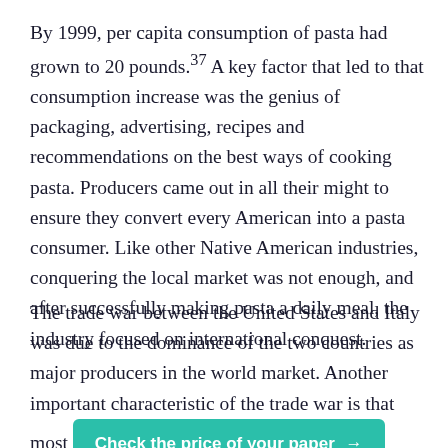By 1999, per capita consumption of pasta had grown to 20 pounds.37 A key factor that led to that consumption increase was the genius of packaging, advertising, recipes and recommendations on the best ways of cooking pasta. Producers came out in all their might to ensure they convert every American into a pasta consumer. Like other Native American industries, conquering the local market was not enough, and after successfully making pasta a daily meal, the industry focused on international conquest.
The trade war between the United States and Italy was due to the dominance of the two countries as major producers in the world market. Another important characteristic of the trade war is that most [Check the price of your paper →] were often from